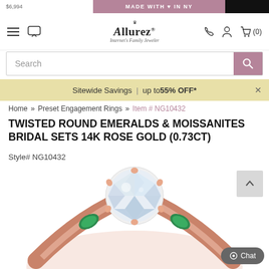MADE WITH ♥ IN NY
[Figure (screenshot): Allurez website navigation bar with hamburger menu, chat icon, Allurez logo (Internet's Family Jeweler), phone icon, user account icon, and cart icon with (0) items]
[Figure (screenshot): Search bar with magnifying glass button in mauve/rose color]
Sitewide Savings | up to 55% OFF*
Home » Preset Engagement Rings » Item # NG10432
TWISTED ROUND EMERALDS & MOISSANITES BRIDAL SETS 14K ROSE GOLD (0.73CT)
Style# NG10432
[Figure (photo): Close-up photo of a rose gold ring with a large round brilliant moissanite center stone and twisted band featuring marquise-cut emerald accent stones]